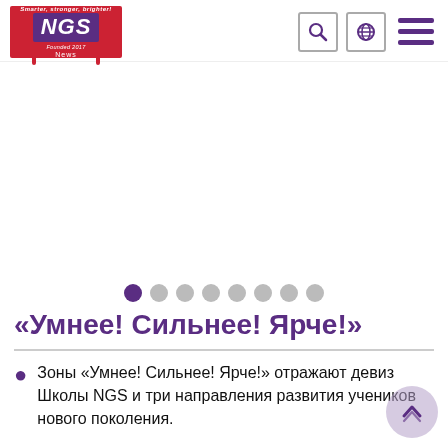[Figure (logo): NGS school logo: red background with purple NGS text block, tagline 'Smarter, stronger, brighter!', 'Founded 2017', 'News']
[Figure (other): Navigation header icons: search (magnifying glass), globe/language, hamburger menu]
[Figure (other): Carousel dot indicators: 8 dots, first dot is purple (active), rest are grey]
«Умнее! Сильнее! Ярче!»
Зоны «Умнее! Сильнее! Ярче!» отражают девиз Школы NGS и три направления развития учеников нового поколения.